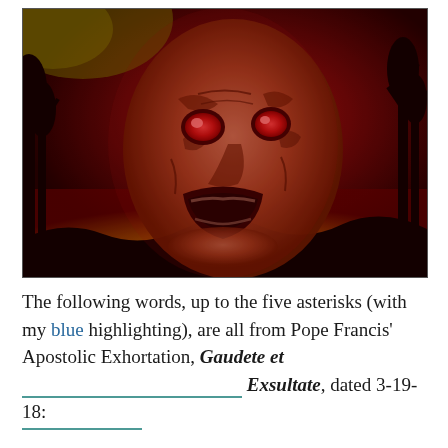[Figure (illustration): A dark, hellish illustration featuring a demonic screaming face with glowing red eyes, set against a fiery red and orange background with silhouetted trees and landscape.]
The following words, up to the five asterisks (with my blue highlighting), are all from Pope Francis' Apostolic Exhortation, Gaudete et Exsultate, dated 3-19-18: